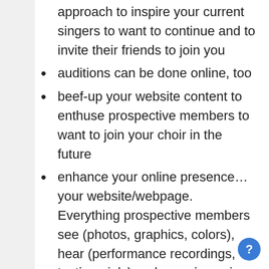approach to inspire your current singers to want to continue and to invite their friends to join you
auditions can be done online, too
beef-up your website content to enthuse prospective members to want to join your choir in the future
enhance your online presence…your website/webpage. Everything prospective members see (photos, graphics, colors), hear (performance recordings, testimonials) and experience is an indication of the quality of the experience you offer